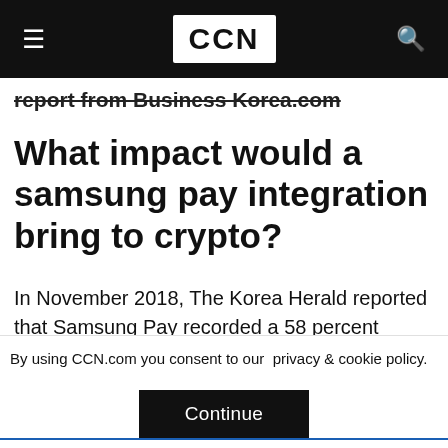CCN
report from Business Korea.com
What impact would a samsung pay integration bring to crypto?
In November 2018, The Korea Herald reported that Samsung Pay recorded a 58 percent increase in its user base year-over-year.
WiseApp, an industry tracker, found that Samsung Pay was the most widely utilized financial
By using CCN.com you consent to our  privacy & cookie policy.
Continue